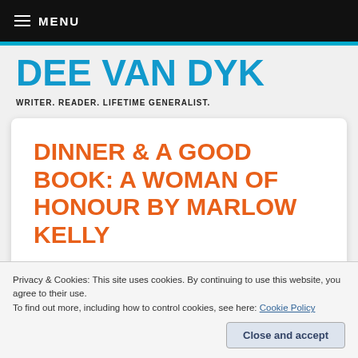MENU
DEE VAN DYK
WRITER. READER. LIFETIME GENERALIST.
DINNER & A GOOD BOOK: A WOMAN OF HONOUR BY MARLOW KELLY
Privacy & Cookies: This site uses cookies. By continuing to use this website, you agree to their use.
To find out more, including how to control cookies, see here: Cookie Policy
Introducing Marlow Kelly's A Woman of Honour. Kelly's